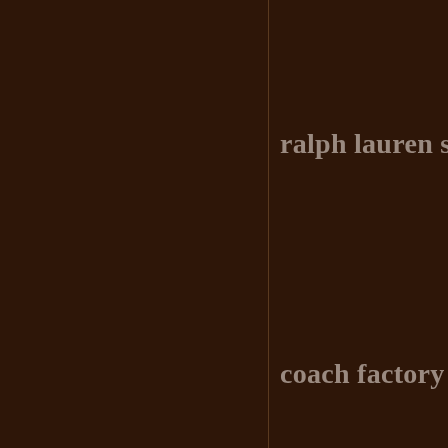ralph lauren sa
coach factory o
longchamp bag
discount oakley